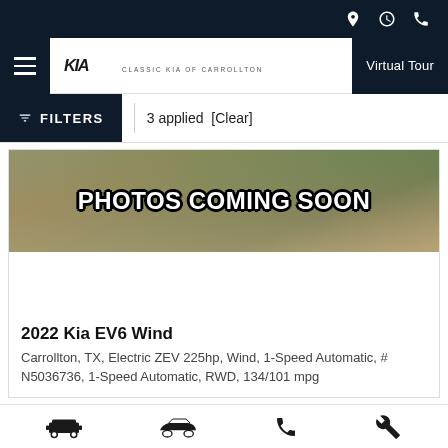[Figure (screenshot): Top navigation bar with dark background, Kia logo, Classic Kia of Carrollton dealer name, Virtual Tour button, and hamburger menu. Location, clock, and phone icons in top-right corner.]
FILTERS  3 applied  [Clear]
[Figure (photo): Photos Coming Soon placeholder image with outdoor background and bold white text outlined in black reading PHOTOS COMING SOON]
2022 Kia EV6 Wind
Carrollton, TX, Electric ZEV 225hp, Wind, 1-Speed Automatic, # N5036736, 1-Speed Automatic, RWD, 134/101 mpg
[Figure (infographic): Bottom bar with four icons: front-view car icon, side-view car icon, phone icon, and wrench/service icon]
This site uses cookies.
OK